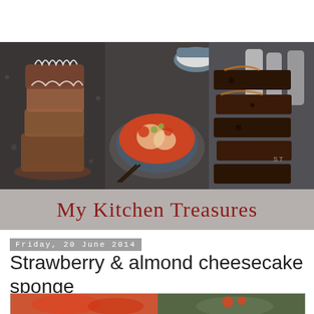[Figure (photo): Collage banner of three food photos: stacked pastries with icing on left, Korean tofu/seafood stew in a blue bowl in center, stacked chocolate brownies with milk bottles on right]
My Kitchen Treasures
Friday, 20 June 2014
Strawberry & almond cheesecake sponge
[Figure (photo): Bottom partial photo showing strawberries and a bowl with strawberries in sauce]